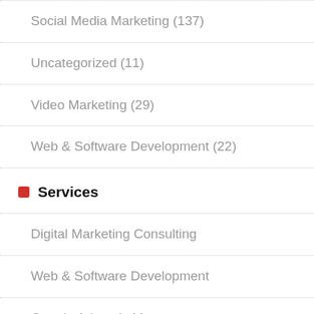Social Media Marketing (137)
Uncategorized (11)
Video Marketing (29)
Web & Software Development (22)
Services
Digital Marketing Consulting
Web & Software Development
Google Adwords Management
Social Media Advertising
Content Marketing